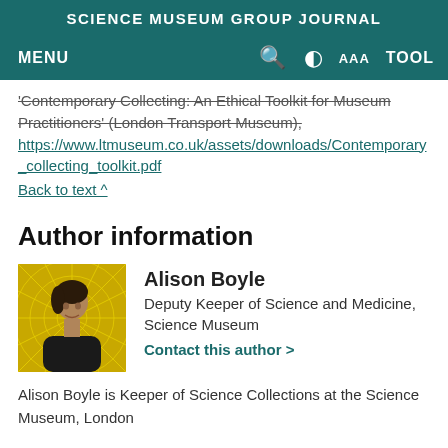SCIENCE MUSEUM GROUP JOURNAL
'Contemporary Collecting: An Ethical Toolkit for Museum Practitioners' (London Transport Museum), https://www.ltmuseum.co.uk/assets/downloads/Contemporary_collecting_toolkit.pdf
Back to text ^
Author information
[Figure (photo): Photo of Alison Boyle against a yellow radial background]
Alison Boyle
Deputy Keeper of Science and Medicine, Science Museum
Contact this author >
Alison Boyle is Keeper of Science Collections at the Science Museum, London